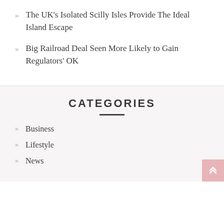The UK’s Isolated Scilly Isles Provide The Ideal Island Escape
Big Railroad Deal Seen More Likely to Gain Regulators’ OK
CATEGORIES
Business
Lifestyle
News